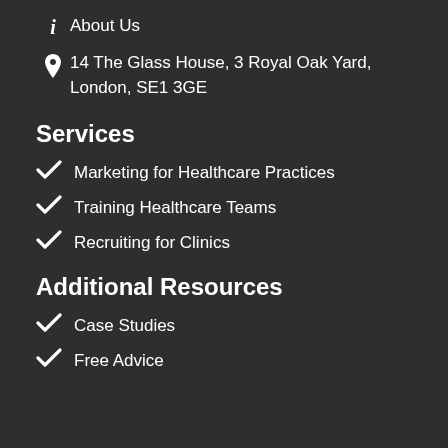About Us
14 The Glass House, 3 Royal Oak Yard, London, SE1 3GE
Services
Marketing for Healthcare Practices
Training Healthcare Teams
Recruiting for Clinics
Additional Resources
Case Studies
Free Advice